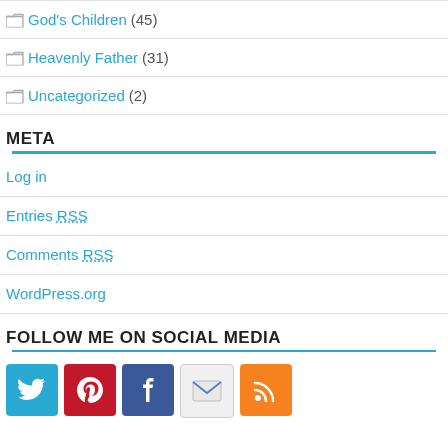God's Children (45)
Heavenly Father (31)
Uncategorized (2)
META
Log in
Entries RSS
Comments RSS
WordPress.org
FOLLOW ME ON SOCIAL MEDIA
[Figure (infographic): Social media icons: Twitter (blue), Pinterest (red), Facebook (dark blue), Email (light gray), RSS (orange)]